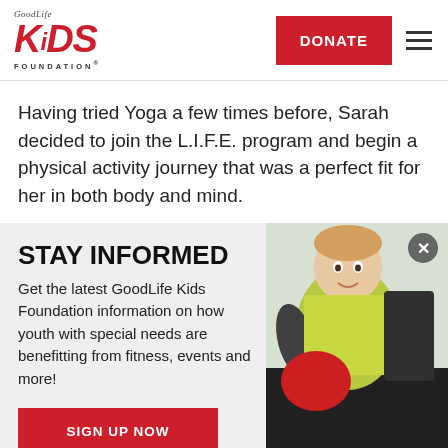[Figure (logo): GoodLife Kids Foundation logo with red italic KIDS text and foundation wordmark]
Having tried Yoga a few times before, Sarah decided to join the L.I.F.E. program and begin a physical activity journey that was a perfect fit for her in both body and mind.
STAY INFORMED
Get the latest GoodLife Kids Foundation information on how youth with special needs are benefitting from fitness, events and more!
[Figure (photo): Photo of a smiling boy in a yellow/neon green shirt with a close/X button in top right corner]
SIGN UP NOW